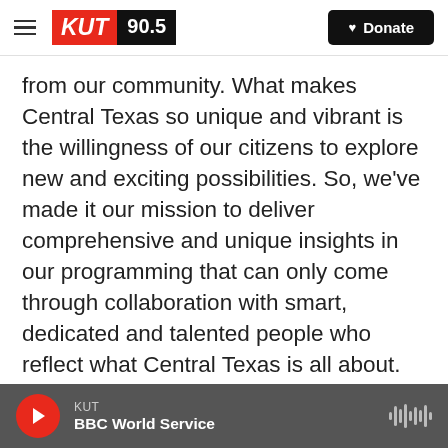[Figure (logo): KUT 90.5 radio station logo with red KUT text and black 90.5 frequency, plus hamburger menu and Donate button]
from our community. What makes Central Texas so unique and vibrant is the willingness of our citizens to explore new and exciting possibilities. So, we've made it our mission to deliver comprehensive and unique insights in our programming that can only come through collaboration with smart, dedicated and talented people who reflect what Central Texas is all about.
KUT and KUTX strive to reflect every side of our diverse, creative community – from the
[Figure (screenshot): Audio player bar at bottom: red play button, KUT station label, BBC World Service show title, waveform icon on right]